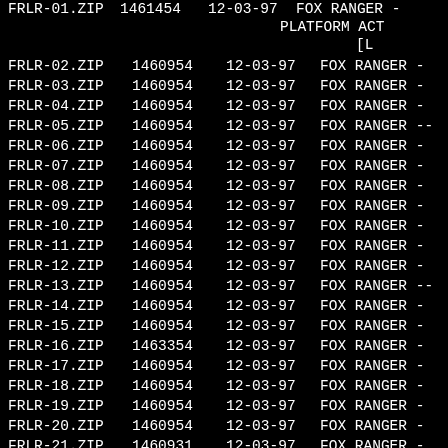| Filename | Size | Date | Description |
| --- | --- | --- | --- |
| FRLR-01.ZIP | 1461454 | 12-03-97 | FOX RANGER - PLATFORM ACT [L |
| FRLR-02.ZIP | 1460954 | 12-03-97 | FOX RANGER - |
| FRLR-03.ZIP | 1460954 | 12-03-97 | FOX RANGER - |
| FRLR-04.ZIP | 1460954 | 12-03-97 | FOX RANGER - |
| FRLR-05.ZIP | 1460954 | 12-03-97 | FOX RANGER -- |
| FRLR-06.ZIP | 1460954 | 12-03-97 | FOX RANGER - |
| FRLR-07.ZIP | 1460954 | 12-03-97 | FOX RANGER - |
| FRLR-08.ZIP | 1460954 | 12-03-97 | FOX RANGER - |
| FRLR-09.ZIP | 1460954 | 12-03-97 | FOX RANGER - |
| FRLR-10.ZIP | 1460954 | 12-03-97 | FOX RANGER - |
| FRLR-11.ZIP | 1460954 | 12-03-97 | FOX RANGER - |
| FRLR-12.ZIP | 1460954 | 12-03-97 | FOX RANGER - |
| FRLR-13.ZIP | 1460954 | 12-03-97 | FOX RANGER -- |
| FRLR-14.ZIP | 1460954 | 12-03-97 | FOX RANGER - |
| FRLR-15.ZIP | 1460954 | 12-03-97 | FOX RANGER - |
| FRLR-16.ZIP | 1463354 | 12-03-97 | FOX RANGER - |
| FRLR-17.ZIP | 1460954 | 12-03-97 | FOX RANGER - |
| FRLR-18.ZIP | 1460954 | 12-03-97 | FOX RANGER - |
| FRLR-19.ZIP | 1460954 | 12-03-97 | FOX RANGER - |
| FRLR-20.ZIP | 1460954 | 12-03-97 | FOX RANGER - |
| FRLR-21.ZIP | 1460931 | 12-03-97 | FOX RANGER - |
| FRLR-22.ZIP | 1463045 | 12-03-97 | FOX RANGER - |
| FRLR-23.ZIP | 1460954 | 12-03-97 | FOX RANGER - |
| FRLR-24.ZIP | 1460954 | 12-03-97 | FOX RANGER - |